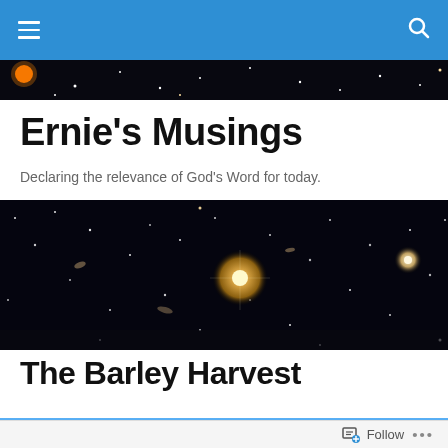Navigation bar with hamburger menu and search icon
[Figure (photo): Space/galaxy strip showing stars at top of page]
Ernie's Musings
Declaring the relevance of God's Word for today.
[Figure (photo): Large banner of space/galaxy image with glowing stars and galaxies on black background]
The Barley Harvest
[Figure (photo): Blue sky with white clouds, partial view at bottom of page]
Follow  •••